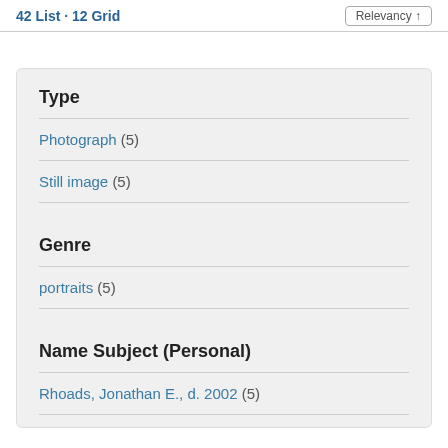42 List · 12 Grid | Relevancy ↑
Type
Photograph (5)
Still image (5)
Genre
portraits (5)
Name Subject (Personal)
Rhoads, Jonathan E., d. 2002 (5)